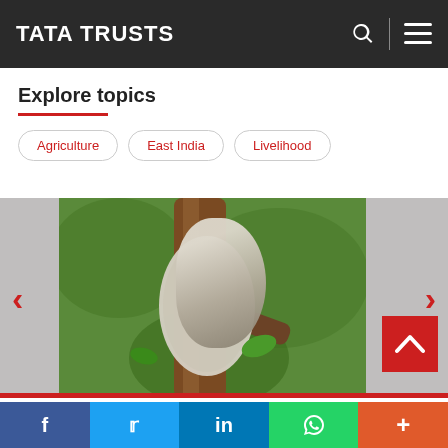TATA TRUSTS
Explore topics
Agriculture
East India
Livelihood
[Figure (photo): A stick containing the Laccifer Lacca eggs is tied to the tree branch, shown wrapped in a grey bag/cocoon tied around a tree trunk with green foliage in the background. Carousel navigation with red left and right arrows on grey background.]
A stick containing the Laccifer Lacca eggs is tied to the
f  t  in  [WhatsApp]  +